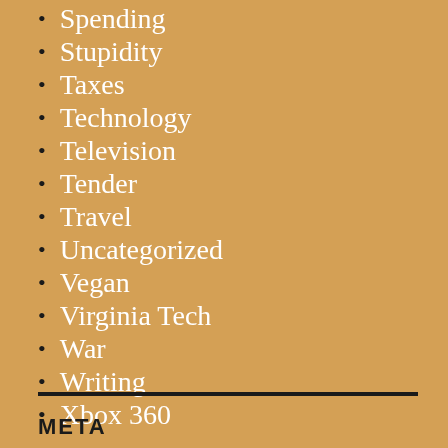Spending
Stupidity
Taxes
Technology
Television
Tender
Travel
Uncategorized
Vegan
Virginia Tech
War
Writing
Xbox 360
META